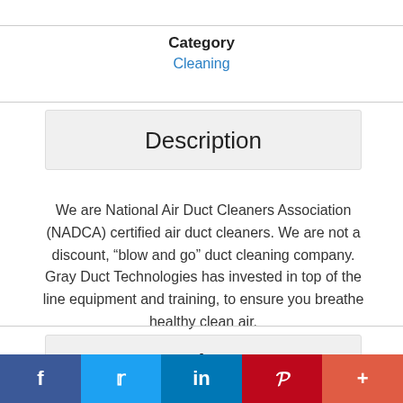Category
Cleaning
Description
We are National Air Duct Cleaners Association (NADCA) certified air duct cleaners. We are not a discount, “blow and go” duct cleaning company. Gray Duct Technologies has invested in top of the line equipment and training, to ensure you breathe healthy clean air.
Ratings
f  🐦  in  ⅇ  +